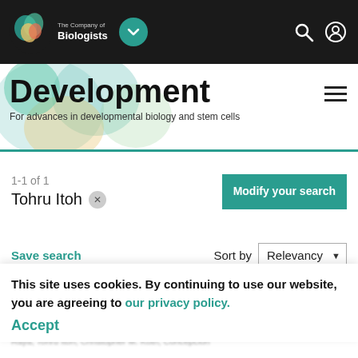[Figure (logo): The Company of Biologists logo in top navigation bar]
Development — For advances in developmental biology and stem cells
1-1 of 1
Tohru Itoh ×
Modify your search
Save search
Sort by Relevancy
JOURNAL ARTICLES
This site uses cookies. By continuing to use our website, you are agreeing to our privacy policy. Accept